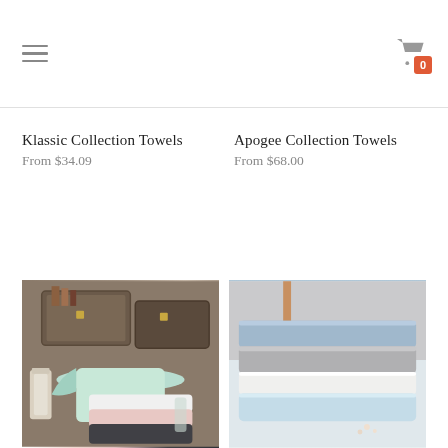Navigation menu and cart icon with badge 0
Klassic Collection Towels
From $34.09
Apogee Collection Towels
From $68.00
[Figure (photo): Stacked towels in mint green, white, pink, and dark gray on a rustic surface with lantern and vintage trunks in background]
[Figure (photo): Stacked plush towels in blue, gray, white, and light blue colors arranged neatly on a neutral background]